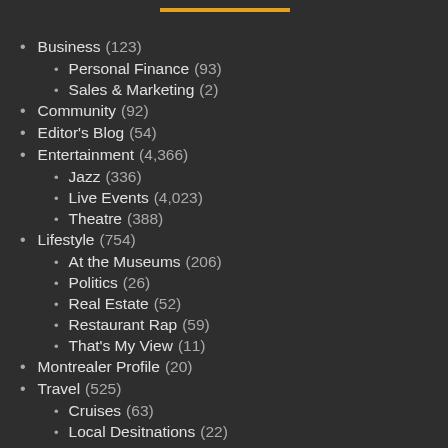Business (123)
Personal Finance (93)
Sales & Marketing (2)
Community (92)
Editor's Blog (54)
Entertainment (4,366)
Jazz (336)
Live Events (4,023)
Theatre (388)
Lifestyle (754)
At the Museums (206)
Politics (26)
Real Estate (52)
Restaurant Rap (59)
That's My View (11)
Montrealer Profile (20)
Travel (525)
Cruises (63)
Local Desitnations (22)